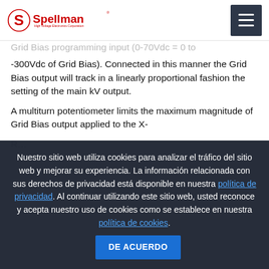Spellman High Voltage Electronics Corporation
Grid Bias programming input (0-70Vdc = 0 to -300Vdc of Grid Bias). Connected in this manner the Grid Bias output will track in a linearly proportional fashion the setting of the main kV output.
A multiturn potentiometer limits the maximum magnitude of Grid Bias output applied to the X-
Nuestro sitio web utiliza cookies para analizar el tráfico del sitio web y mejorar su experiencia. La información relacionada con sus derechos de privacidad está disponible en nuestra política de privacidad. Al continuar utilizando este sitio web, usted reconoce y acepta nuestro uso de cookies como se establece en nuestra política de cookies.
DE ACUERDO